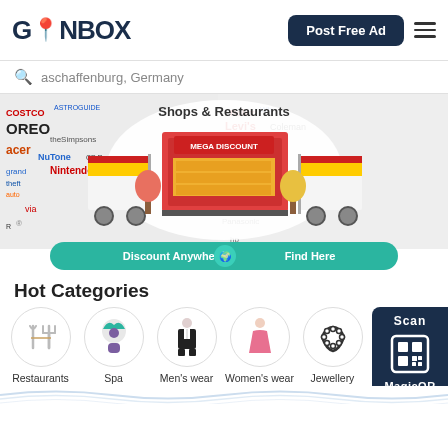GONBOX
Post Free Ad
aschaffenburg, Germany
[Figure (screenshot): Gonbox website banner showing Shops & Restaurants illustration with market stalls, a mega discount store, brand logos collage background, and a teal 'Discount Anywhere Find Here' call-to-action button]
Hot Categories
[Figure (infographic): Category icons row: Restaurants (fork and knife), Spa (person with towel), Men's wear (suit figure), Women's wear (dress figure), Jewellery (necklace), Health wellne[ss] (partially visible, QR overlay)]